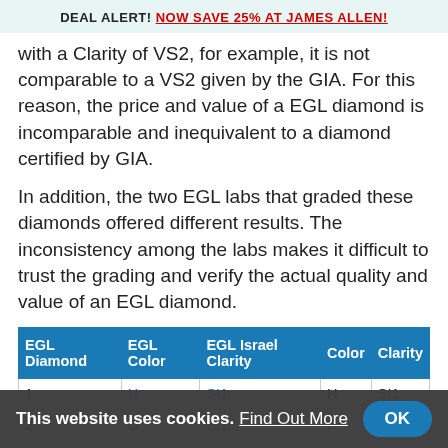DEAL ALERT! NOW SAVE 25% AT JAMES ALLEN!
with a Clarity of VS2, for example, it is not comparable to a VS2 given by the GIA. For this reason, the price and value of a EGL diamond is incomparable and inequivalent to a diamond certified by GIA.
In addition, the two EGL labs that graded these diamonds offered different results. The inconsistency among the labs makes it difficult to trust the grading and verify the actual quality and value of an EGL diamond.
| EGL Diamond | EGL Color | EGL Israel Clarity | Color | Clarity |
| --- | --- | --- | --- | --- |
| 1 | H | SI1 | H | SI1 |
| 2 | G | SI1 | F | V |
This website uses cookies. Find Out More  OK